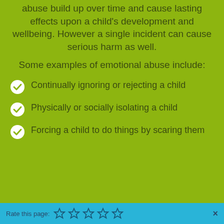abuse build up over time and cause lasting effects upon a child's development and wellbeing. However a single incident can cause serious harm as well.
Some examples of emotional abuse include:
Continually ignoring or rejecting a child
Physically or socially isolating a child
Forcing a child to do things by scaring them
Rate this page: ☆ ☆ ☆ ☆ ☆  ×